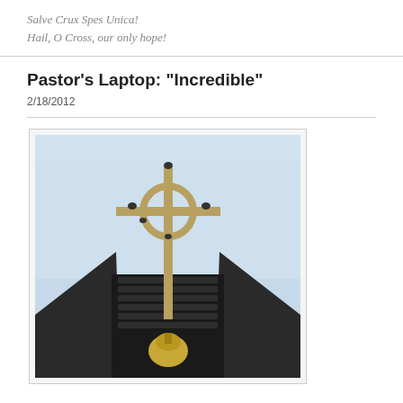Salve Crux Spes Unica!
Hail, O Cross, our only hope!
Pastor's Laptop: "Incredible"
2/18/2012
[Figure (photo): A church cross (Celtic-style) mounted on a tall pole above a dark modern church building with horizontal slatted decorations and a bell visible at the base. Birds are perched on the cross. Blue sky background.]